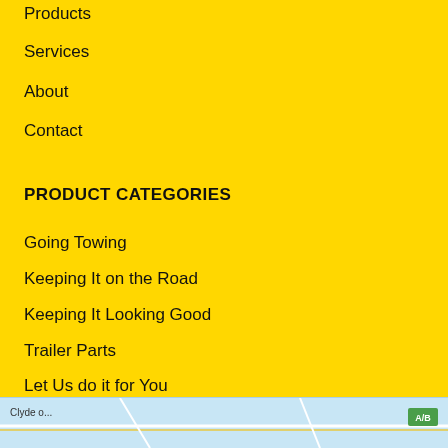Products
Services
About
Contact
PRODUCT CATEGORIES
Going Towing
Keeping It on the Road
Keeping It Looking Good
Trailer Parts
Let Us do it for You
CONTACT INFORMATION
[Figure (map): Street map showing local area with road markings and a green badge indicator]